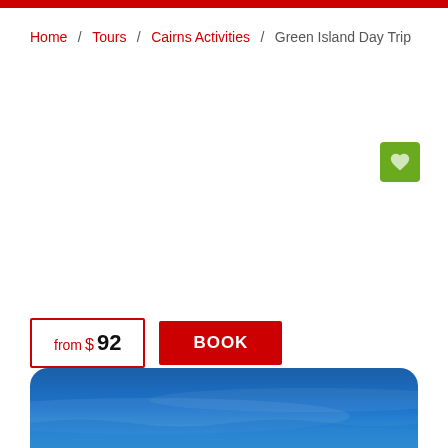Home / Tours / Cairns Activities / Green Island Day Trip
from $92 BOOK
[Figure (photo): Blue ocean water photo at the bottom of the page]